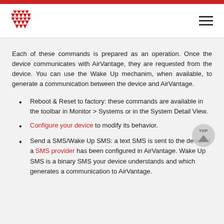[Figure (logo): Sierra Wireless AirVantage logo — red diamond/wave pattern]
Each of these commands is prepared as an operation. Once the device communicates with AirVantage, they are requested from the device. You can use the Wake Up mechanim, when available, to generate a communication between the device and AirVantage.
Reboot & Reset to factory: these commands are available in the toolbar in Monitor > Systems or in the System Detail View.
Configure your device to modify its behavior.
Send a SMS/Wake Up SMS: a text SMS is sent to the device if a SMS provider has been configured in AirVantage. Wake Up SMS is a binary SMS your device understands and which generates a communication to AirVantage.